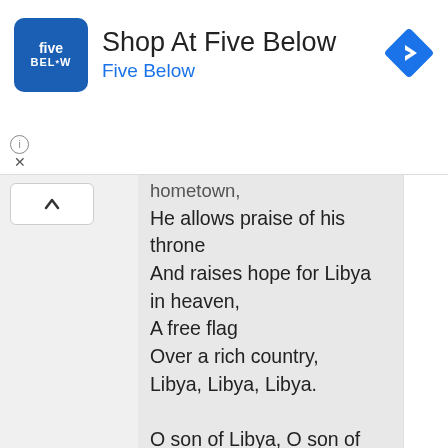[Figure (logo): Five Below retail store advertisement banner with blue square logo showing 'five BEL*W' text, heading 'Shop At Five Below', subheading 'Five Below' in blue, and a blue navigation/directions diamond icon on the right.]
homeland,
He allows praise of his throne
And raises hope for Libya in heaven,
A free flag
Over a rich country,
Libya, Libya, Libya.

O son of Libya, O son of lions of the wild
We're for honour and the honours are for us
Since the time of us being